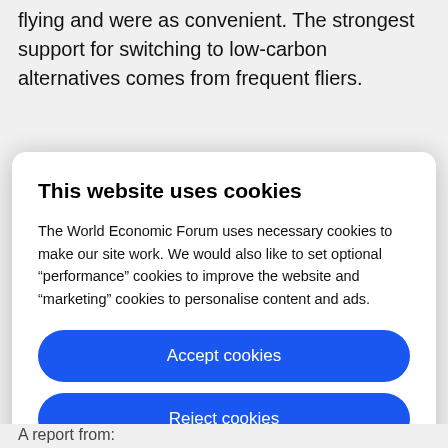flying and were as convenient. The strongest support for switching to low-carbon alternatives comes from frequent fliers.
This website uses cookies
The World Economic Forum uses necessary cookies to make our site work. We would also like to set optional “performance” cookies to improve the website and “marketing” cookies to personalise content and ads.
Accept cookies
Reject cookies
Cookie settings
A report from: